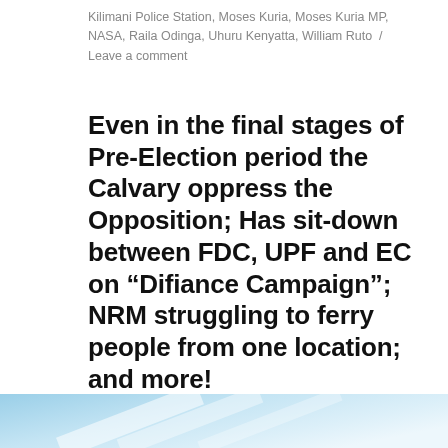Kilimani Police Station, Moses Kuria, Moses Kuria MP, NASA, Raila Odinga, Uhuru Kenyatta, William Ruto / Leave a comment
Even in the final stages of Pre-Election period the Calvary oppress the Opposition; Has sit-down between FDC, UPF and EC on “Difiance Campaign”; NRM struggling to ferry people from one location; and more!
[Figure (illustration): Light blue gradient banner at the bottom of the page with diagonal lines]